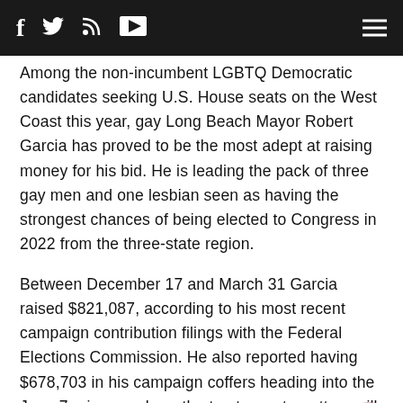[Social media icons: Facebook, Twitter, RSS, YouTube] [Hamburger menu]
Among the non-incumbent LGBTQ Democratic candidates seeking U.S. House seats on the West Coast this year, gay Long Beach Mayor Robert Garcia has proved to be the most adept at raising money for his bid. He is leading the pack of three gay men and one lesbian seen as having the strongest chances of being elected to Congress in 2022 from the three-state region.
Between December 17 and March 31 Garcia raised $821,087, according to his most recent campaign contribution filings with the Federal Elections Commission. He also reported having $678,703 in his campaign coffers heading into the June 7 primary, where the top two vote-getters will advance to the November 8 ballot.